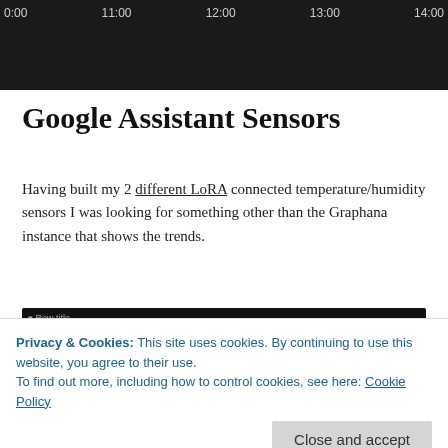[Figure (screenshot): Dark top navigation bar showing time labels: 0:00, 11:00, 12:00, 13:00, 14:00 on a dark background — part of a Grafana dashboard screenshot]
Google Assistant Sensors
Having built my 2 different LoRA connected temperature/humidity sensors I was looking for something other than the Graphana instance that shows the trends.
[Figure (screenshot): Dark Grafana dashboard panel screenshot showing 'Row title' and 'Livingroom Temp' panel header with temperature value partially visible]
Privacy & Cookies: This site uses cookies. By continuing to use this website, you agree to their use.
To find out more, including how to control cookies, see here: Cookie Policy
Being able to ask Google Assistant the temperature